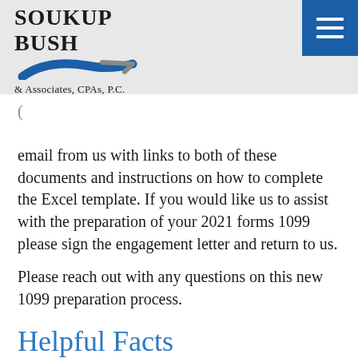[Figure (logo): Soukup Bush & Associates, CPAs, P.C. logo with blue swoosh graphic and hamburger menu button]
email from us with links to both of these documents and instructions on how to complete the Excel template. If you would like us to assist with the preparation of your 2021 forms 1099 please sign the engagement letter and return to us.
Please reach out with any questions on this new 1099 preparation process.
Helpful Facts
1099s are not required to be issued for payments made personally; only payments made in the course